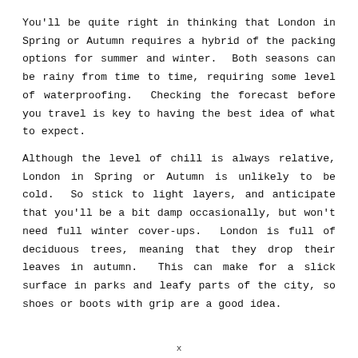You'll be quite right in thinking that London in Spring or Autumn requires a hybrid of the packing options for summer and winter.  Both seasons can be rainy from time to time, requiring some level of waterproofing.  Checking the forecast before you travel is key to having the best idea of what to expect.
Although the level of chill is always relative, London in Spring or Autumn is unlikely to be cold.  So stick to light layers, and anticipate that you'll be a bit damp occasionally, but won't need full winter cover-ups.  London is full of deciduous trees, meaning that they drop their leaves in autumn.  This can make for a slick surface in parks and leafy parts of the city, so shoes or boots with grip are a good idea.
x